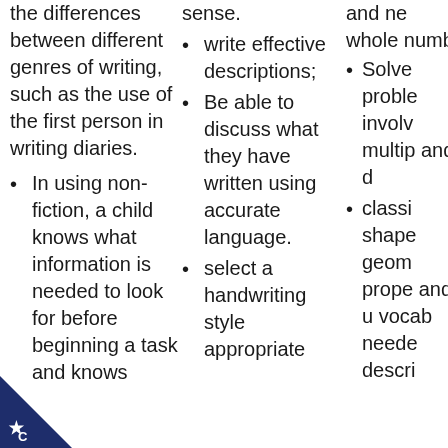the differences between different genres of writing, such as the use of the first person in writing diaries.
In using non-fiction, a child knows what information is needed to look for before beginning a task and knows
sense.
write effective descriptions;
Be able to discuss what they have written using accurate language.
select a handwriting style appropriate
and ne whole numb
Solve proble involv multip and d
classi shape geom prope and u vocab neede descri
[Figure (logo): Dark navy blue triangle with a white star/badge icon in the bottom-left corner of the page, with a white letter C]